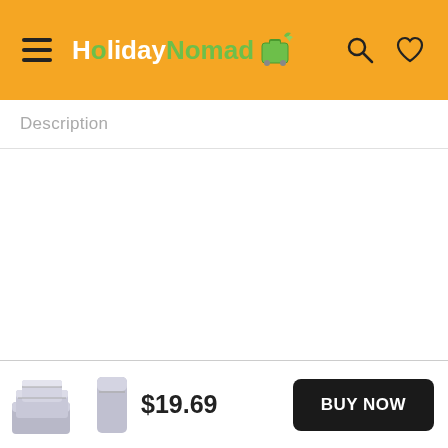HolidayNomad
Description
[Figure (photo): Two travel compression/packing cubes or luggage organizer pouches in light grey color shown as product thumbnail images]
$19.69
BUY NOW